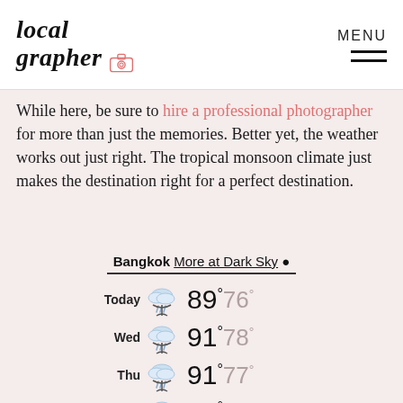Localgrapher MENU
While here, be sure to hire a professional photographer for more than just the memories. Better yet, the weather works out just right. The tropical monsoon climate just makes the destination right for a perfect destination.
[Figure (infographic): Bangkok weather widget showing 5-day forecast with rain icons. Today: 89°/76°, Wed: 91°/78°, Thu: 91°/77°, Fri: 91°/76°, Sat: 93°/77°. Header: Bangkok More at Dark Sky.]